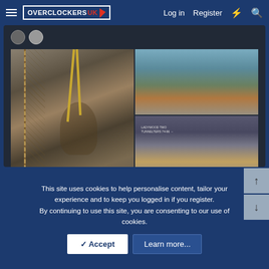☰  OVERCLOCKERS UK    Log in   Register   ⚡   🔍
[Figure (photo): Screenshot of an embedded tweet showing three photographs of a bronze statue of a footballer being installed by crane at a city location. Left photo: statue suspended by yellow straps from a crane beside a lattice steel structure. Top right photo: statue being lifted by crane near a modern glass building. Bottom right photo: statue being lowered near a building with signage reading 'LADYWOOD TWO TUNNELTERS 74-96'. Timestamp shown: 1:06 PM · May 17, 2022. Interaction counts: 30.8K likes, Reply, Copy link.]
1:06 PM · May 17, 2022
30.8K   Reply   Copy link
This site uses cookies to help personalise content, tailor your experience and to keep you logged in if you register.
By continuing to use this site, you are consenting to our use of cookies.
✓ Accept   Learn more...